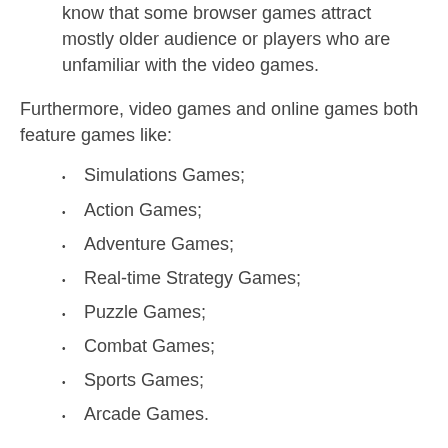know that some browser games attract mostly older audience or players who are unfamiliar with the video games.
Furthermore, video games and online games both feature games like:
Simulations Games;
Action Games;
Adventure Games;
Real-time Strategy Games;
Puzzle Games;
Combat Games;
Sports Games;
Arcade Games.